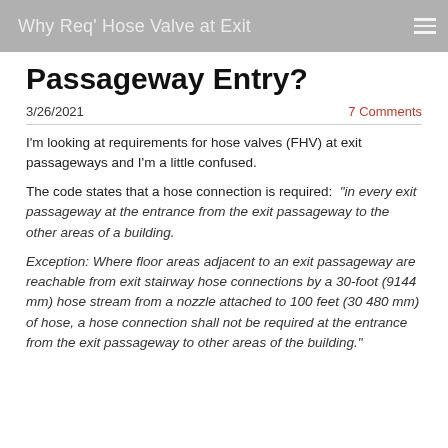Why Req' Hose Valve at Exit Passageway Entry?
Passageway Entry?
3/26/2021
7 Comments
I'm looking at requirements for hose valves (FHV) at exit passageways and I'm a little confused.
The code states that a hose connection is required: “in every exit passageway at the entrance from the exit passageway to the other areas of a building.

Exception: Where floor areas adjacent to an exit passageway are reachable from exit stairway hose connections by a 30-foot (9144 mm) hose stream from a nozzle attached to 100 feet (30 480 mm) of hose, a hose connection shall not be required at the entrance from the exit passageway to other areas of the building.”